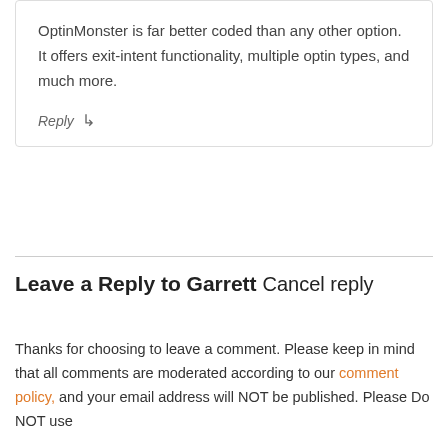OptinMonster is far better coded than any other option. It offers exit-intent functionality, multiple optin types, and much more.
Reply ↳
Leave a Reply to Garrett Cancel reply
Thanks for choosing to leave a comment. Please keep in mind that all comments are moderated according to our comment policy, and your email address will NOT be published. Please Do NOT use